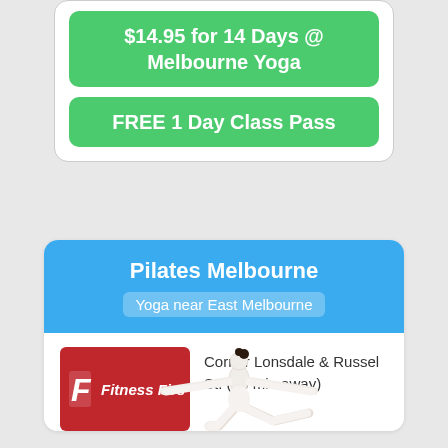[Figure (other): Green button: $14.95 for 14 Days @ Melbourne Yoga]
[Figure (other): Green button: FREE 1 Day Class Pass]
Pilates Melbourne
Yoga near East Melbourne
[Figure (logo): Fitness First logo on red background]
Corner Lonsdale & Russel St. (~5 min away)
[Figure (photo): Woman in white doing yoga warrior pose]